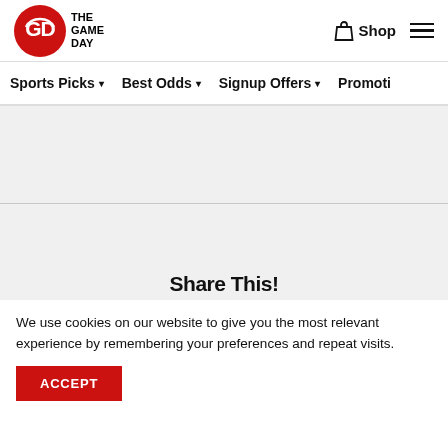THE GAME DAY — Shop — Navigation menu
Sports Picks   Best Odds   Signup Offers   Promotions
[Figure (other): Gray content area with a horizontal divider line in the middle and a partially visible 'Share This!' heading at the bottom]
We use cookies on our website to give you the most relevant experience by remembering your preferences and repeat visits.
ACCEPT